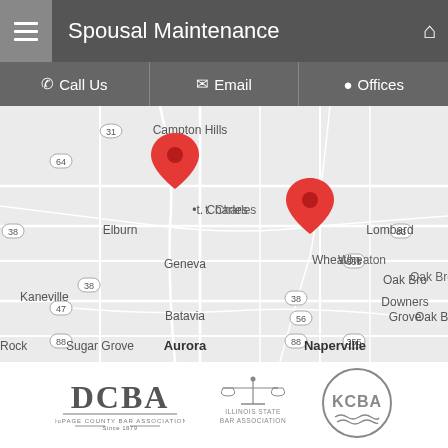Spousal Maintenance
[Figure (map): Google Maps view showing DuPage County area of Illinois with two red location pins: one near St. Charles/Geneva and one near Wheaton/Carol Stream. Map shows cities including Campton Hills, Elburn, Kaneville, Sugar Grove, Aurora, Batavia, Geneva, St. Charles, Carol Stream, Wheaton, Lombard, Downers Grove, Naperville, Oak Brook.]
[Figure (logo): DCBA DuPage County Bar Association Since 1879 logo]
[Figure (logo): Illinois State Bar Association logo]
[Figure (logo): KCBA logo]
From our offices in Naperville and Wheaton, Illinois, we serve clients